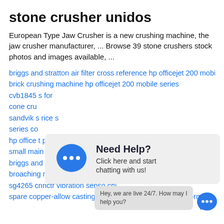stone crusher unidos
European Type Jaw Crusher is a new crushing machine, the jaw crusher manufacturer, ... Browse 39 stone crushers stock photos and images available, ...
briggs and stratton air filter cross reference hp officejet 200 mobile printer install
brick crushing machine hp officejet 200 mobile series
cvb1845 ... s for
cone cru...
sandvik s... rice s
series co...
hp office... t parts
small main frame bushing crusher jaw crusher parts name
briggs and stratton air filter uk hp omen 200w charger
broaching machine hp officejet...
sg4265 cnnctr vibration senso... chi...
spare copper-allow casting piezoelectric accelerometer formula
[Figure (other): Chat popup overlay with a blue speech bubble icon with three dots, title 'Need Help?' and subtitle 'Click here and start chatting with us!']
Hey, we are live 24/7. How may I help you?